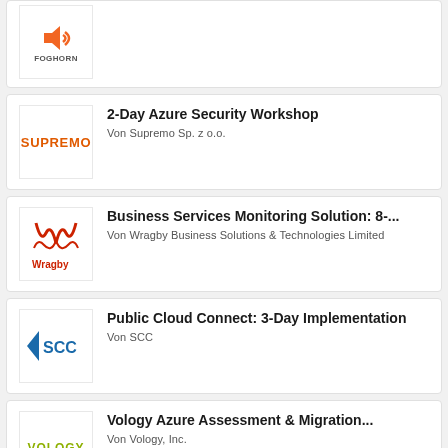[Figure (logo): Foghorn logo with orange icon and FOGHORN text]
2-Day Azure Security Workshop
Von Supremo Sp. z o.o.
Business Services Monitoring Solution: 8-...
Von Wragby Business Solutions & Technologies Limited
Public Cloud Connect: 3-Day Implementation
Von SCC
Vology Azure Assessment & Migration...
Von Vology, Inc.